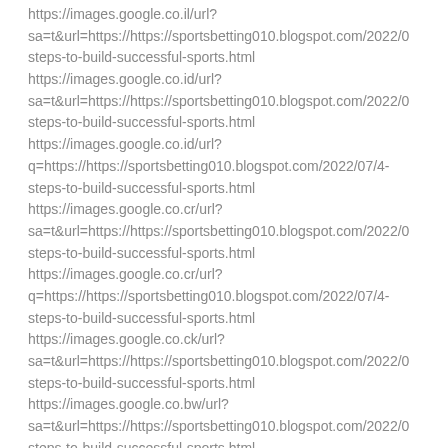https://images.google.co.il/url?
sa=t&url=https://https://sportsbetting010.blogspot.com/2022/01
steps-to-build-successful-sports.html
https://images.google.co.id/url?
sa=t&url=https://https://sportsbetting010.blogspot.com/2022/01
steps-to-build-successful-sports.html
https://images.google.co.id/url?
q=https://https://sportsbetting010.blogspot.com/2022/07/4-
steps-to-build-successful-sports.html
https://images.google.co.cr/url?
sa=t&url=https://https://sportsbetting010.blogspot.com/2022/01
steps-to-build-successful-sports.html
https://images.google.co.cr/url?
q=https://https://sportsbetting010.blogspot.com/2022/07/4-
steps-to-build-successful-sports.html
https://images.google.co.ck/url?
sa=t&url=https://https://sportsbetting010.blogspot.com/2022/01
steps-to-build-successful-sports.html
https://images.google.co.bw/url?
sa=t&url=https://https://sportsbetting010.blogspot.com/2022/01
steps-to-build-successful-sports.html